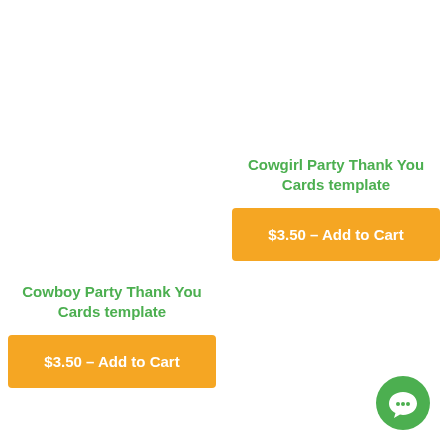Cowboy Party Thank You Cards template
$3.50 – Add to Cart
Cowgirl Party Thank You Cards template
$3.50 – Add to Cart
[Figure (other): Green chat bubble icon in bottom right corner]